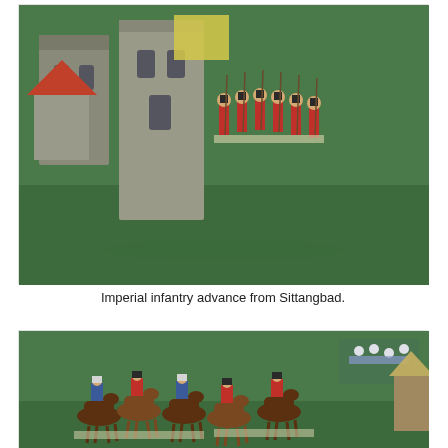[Figure (photo): Photo of 18th-century British imperial infantry miniature figures in red coats marching past a model stone church/tower building on a green mat battlefield diorama scene.]
Imperial infantry advance from Sittangbad.
[Figure (photo): Photo of 18th-century cavalry miniature figures on horseback, charging or advancing on a green mat battlefield, with more infantry visible in the background.]